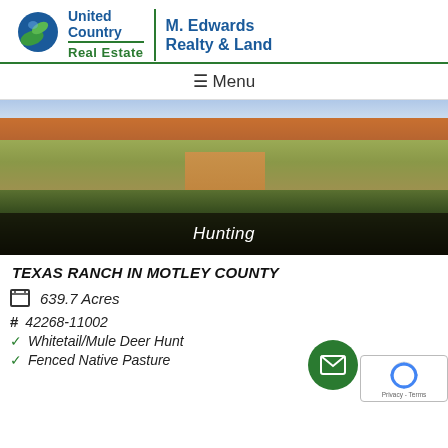[Figure (logo): United Country Real Estate | M. Edwards Realty & Land logo with green globe icon and teal/blue text]
≡ Menu
[Figure (photo): Aerial photo of dry Texas ranch land with brush and a dirt path, labeled 'Hunting']
Hunting
TEXAS RANCH IN MOTLEY COUNTY
639.7 Acres
# 42268-11002
Whitetail/Mule Deer Hunt
Fenced Native Pasture